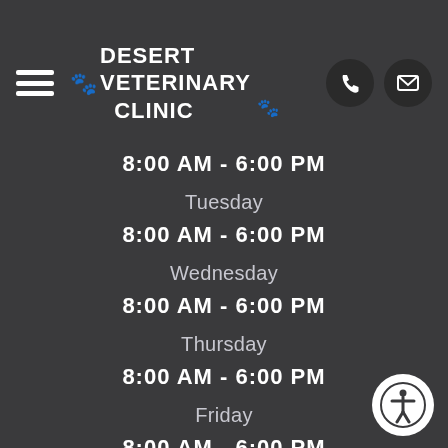Desert Veterinary Clinic
8:00 AM - 6:00 PM
Tuesday
8:00 AM - 6:00 PM
Wednesday
8:00 AM - 6:00 PM
Thursday
8:00 AM - 6:00 PM
Friday
8:00 AM - 6:00 PM
Saturday
8:00 AM - 6:00 PM
Sunday